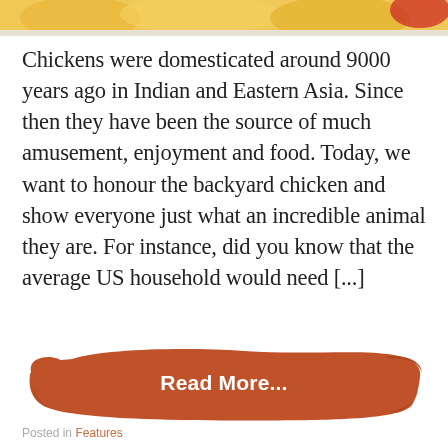[Figure (photo): Top portion of an image showing chickens or decorative chicken/floral motif in yellow/gold tones]
Chickens were domesticated around 9000 years ago in Indian and Eastern Asia. Since then they have been the source of much amusement, enjoyment and food. Today, we want to honour the backyard chicken and show everyone just what an incredible animal they are. For instance, did you know that the average US household would need [...]
[Figure (illustration): Rusty orange/terracotta paint brush stroke background with white bold text 'Read More...' centered on it]
Posted in Features